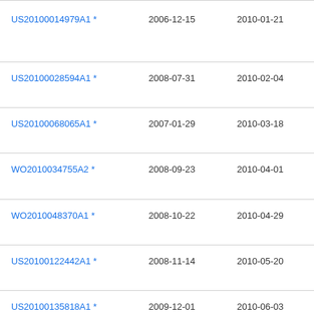| Publication number | Filing date | Publication date | Assignee |
| --- | --- | --- | --- |
| US20100014979A1 * | 2006-12-15 | 2010-01-21 | Da… Tek… Uni… |
| US20100028594A1 * | 2008-07-31 | 2010-02-04 | Nic… Kra… |
| US20100068065A1 * | 2007-01-29 | 2010-03-18 | Fin… Jer… |
| WO2010034755A2 * | 2008-09-23 | 2010-04-01 | Gro… Inte… |
| WO2010048370A1 * | 2008-10-22 | 2010-04-29 | Ve… L.L… |
| US20100122442A1 * | 2008-11-14 | 2010-05-20 | Ge… Co… |
| US20100135818A1 * | 2009-12-01 | 2010-06-03 | Ac… |